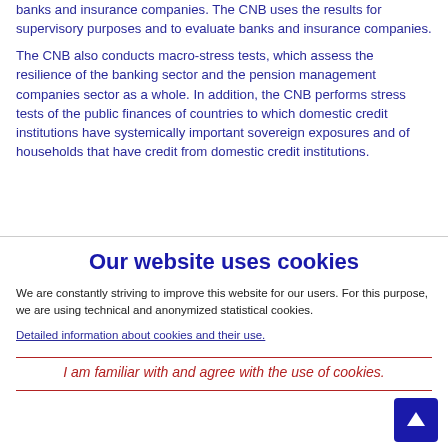banks and insurance companies. The CNB uses the results for supervisory purposes and to evaluate banks and insurance companies.
The CNB also conducts macro-stress tests, which assess the resilience of the banking sector and the pension management companies sector as a whole. In addition, the CNB performs stress tests of the public finances of countries to which domestic credit institutions have systemically important sovereign exposures and of households that have credit from domestic credit institutions.
Our website uses cookies
We are constantly striving to improve this website for our users. For this purpose, we are using technical and anonymized statistical cookies.
Detailed information about cookies and their use.
I am familiar with and agree with the use of cookies.